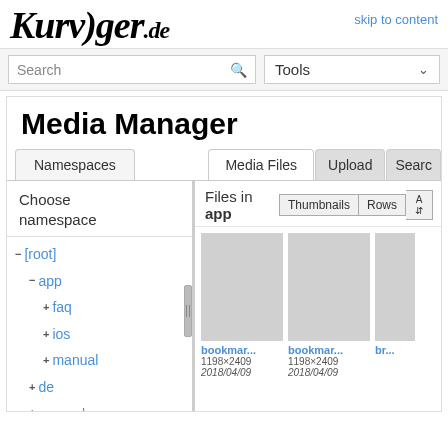[Figure (logo): Kurviger.de logo in italic serif font with skip to content link]
Search
Tools
Media Manager
Namespaces
Media Files
Upload
Search
Choose namespace
Files in app
Thumbnails
Rows
− [root]
− app
+ faq
+ ios
+ manual
+ de
+ general
[Figure (screenshot): Thumbnail image placeholder for bookmar... 1198×2409 2018/04/09]
[Figure (screenshot): Thumbnail image placeholder for bookmar... 1198×2409 2018/04/09]
[Figure (screenshot): Partial thumbnail image placeholder for br...]